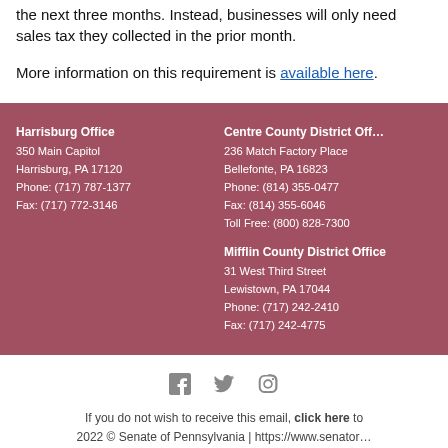the next three months. Instead, businesses will only need sales tax they collected in the prior month.
More information on this requirement is available here.
Harrisburg Office
350 Main Capitol
Harrisburg, PA 17120
Phone: (717) 787-1377
Fax: (717) 772-3146
Centre County District Office
236 Match Factory Place
Bellefonte, PA 16823
Phone: (814) 355-0477
Fax: (814) 355-6046
Toll Free: (800) 828-7300
Mifflin County District Office
31 West Third Street
Lewistown, PA 17044
Phone: (717) 242-2410
Fax: (717) 242-4775
[Figure (infographic): Social media icons: Facebook, Twitter, Instagram]
If you do not wish to receive this email, click here to
2022 © Senate of Pennsylvania | https://www.senator...